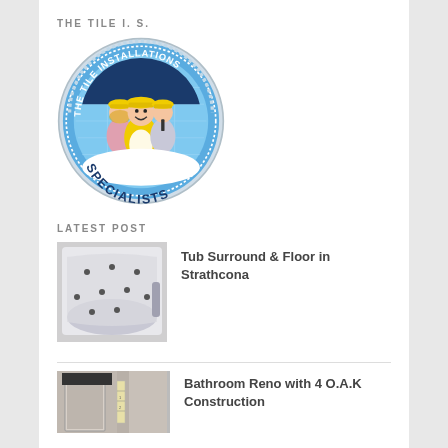THE TILE I. S.
[Figure (logo): The Tile Installations Specialists circular logo featuring cartoon construction workers in yellow hard hats, blue and white color scheme]
LATEST POST
[Figure (photo): Photo of a bathroom tub surround area showing a bathtub with small dot markers on the walls]
Tub Surround & Floor in Strathcona
[Figure (photo): Photo of bathroom renovation site with construction elements visible, with a vertical dividing line]
Bathroom Reno with 4 O.A.K Construction